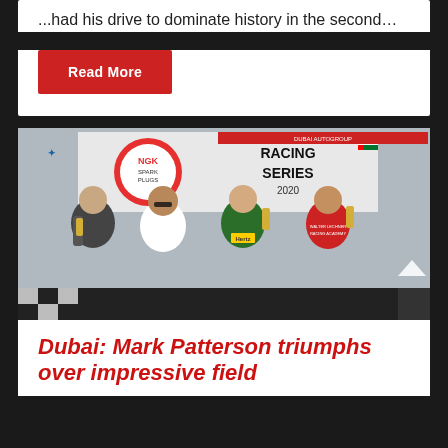...had his drive to dominate history in the second…
Read More
[Figure (photo): Podium photo at NGK Racing Series Dubai event. Four people posing — three in racing suits (Hertz branding, Walter Lechner Racing Academy) and one in a white shirt giving thumbs up — holding trophy cups in front of an NGK Spark Plugs Racing Series 2020 banner with UAE flags.]
Dubai: Mark Patterson triumphs over impressive field